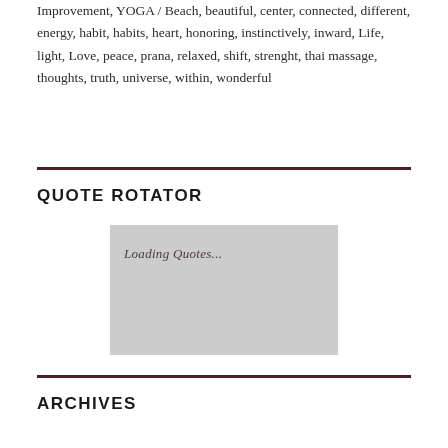Improvement, YOGA / Beach, beautiful, center, connected, different, energy, habit, habits, heart, honoring, instinctively, inward, Life, light, Love, peace, prana, relaxed, shift, strenght, thai massage, thoughts, truth, universe, within, wonderful
QUOTE ROTATOR
[Figure (other): A light grey placeholder box displaying the text 'Loading Quotes...']
ARCHIVES